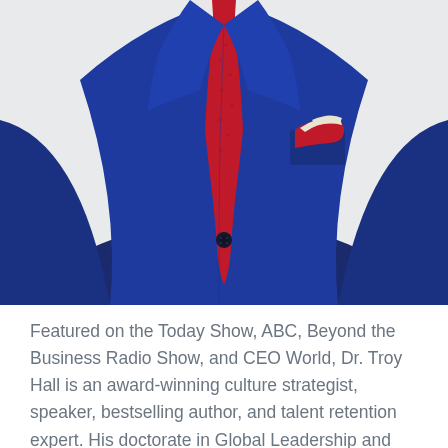[Figure (photo): A man in a navy blue suit with a red patterned tie and a red paisley pocket square, photographed from the chin down to the waist against a white/light gray background.]
Featured on the Today Show, ABC, Beyond the Business Radio Show, and CEO World, Dr. Troy Hall is an award-winning culture strategist, speaker, bestselling author, and talent retention expert. His doctorate in Global Leadership and